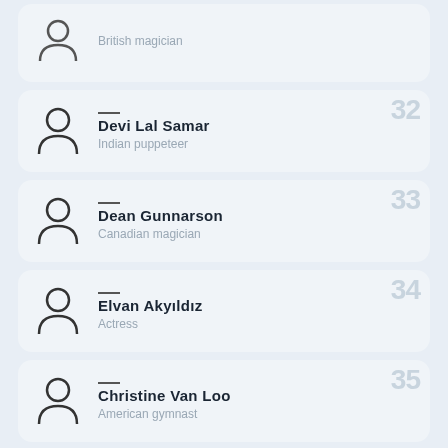British magician
Devi Lal Samar
Indian puppeteer
Dean Gunnarson
Canadian magician
Elvan Akyıldız
Actress
Christine Van Loo
American gymnast
Noritake Kinashi
Japanese comedian